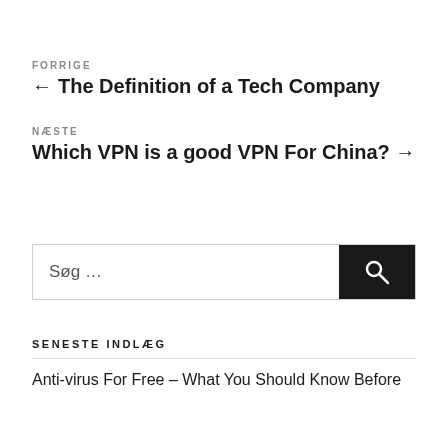FORRIGE
← The Definition of a Tech Company
NÆSTE
Which VPN is a good VPN For China? →
Søg …
SENESTE INDLÆG
Anti-virus For Free – What You Should Know Before